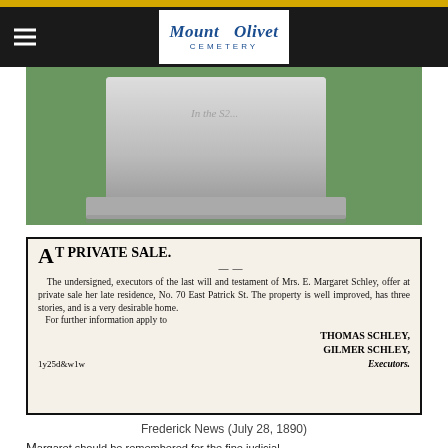Mount Olivet Cemetery
[Figure (photo): Photograph of a gravestone with grass in the background, showing partial text 'In the S...']
[Figure (photo): Newspaper clipping: AT PRIVATE SALE. The undersigned, executors of the last will and testament of Mrs. E. Margaret Schley, offer at private sale her late residence, No. 70 East Patrick St. The property is well improved, has three stories, and is a very desirable home. For further information apply to THOMAS SCHLEY, GILMER SCHLEY, Executors. 1y25d&w1w]
Frederick News (July 28, 1890)
Margaret should be remembered for the fine judicial...